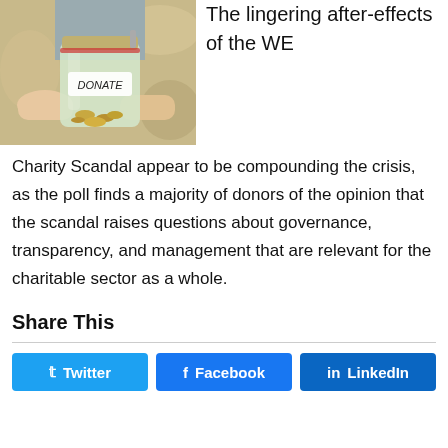[Figure (photo): Person holding a glass jar labeled DONATE with coins inside]
The lingering after-effects of the WE Charity Scandal appear to be compounding the crisis, as the poll finds a majority of donors of the opinion that the scandal raises questions about governance, transparency, and management that are relevant for the charitable sector as a whole.
Share This
Twitter | Facebook | LinkedIn